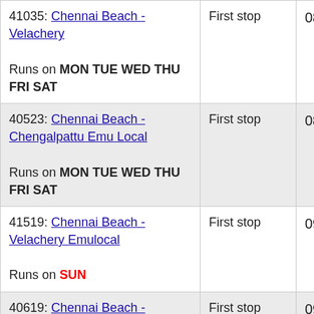| Route | Stop | Time |
| --- | --- | --- |
| 41035: Chennai Beach - Velachery
Runs on MON TUE WED THU FRI SAT | First stop | 08:55 |
| 40523: Chennai Beach - Chengalpattu Emu Local
Runs on MON TUE WED THU FRI SAT | First stop | 08:56 |
| 41519: Chennai Beach - Velachery Emulocal
Runs on SUN | First stop | 09:00 |
| 40619: Chennai Beach - Chengalpattu Emu Local
Runs on SUN | First stop | 09:00 |